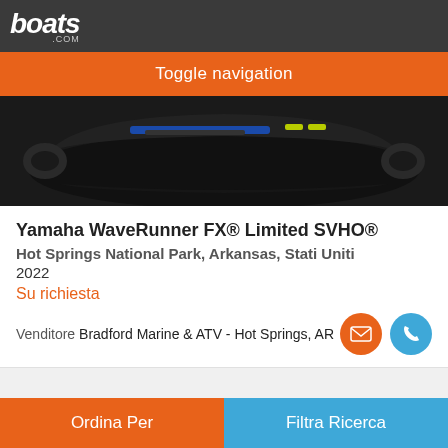boats.com
Toggle navigation
[Figure (photo): Side view of a Yamaha WaveRunner FX Limited SVHO personal watercraft against a dark background]
Yamaha WaveRunner FX® Limited SVHO®
Hot Springs National Park, Arkansas, Stati Uniti
2022
Su richiesta
Venditore Bradford Marine & ATV - Hot Springs, AR
1
Ordina Per  Filtra Ricerca